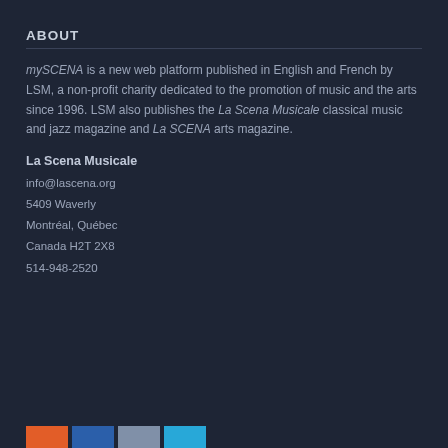ABOUT
mySCENA is a new web platform published in English and French by LSM, a non-profit charity dedicated to the promotion of music and the arts since 1996. LSM also publishes the La Scena Musicale classical music and jazz magazine and La SCENA arts magazine.
La Scena Musicale
info@lascena.org
5409 Waverly
Montréal, Québec
Canada H2T 2X8
514-948-2520
[Figure (other): Four social media icon blocks in a row: orange, dark blue, gray, and light blue.]